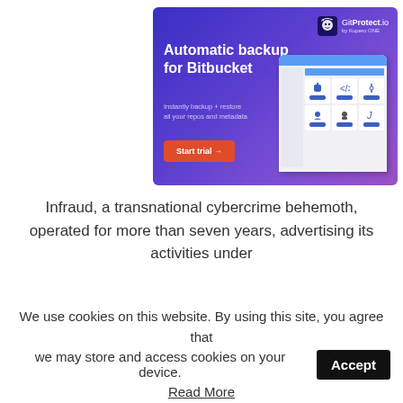[Figure (infographic): Advertisement banner for GitProtect.io showing 'Automatic backup for Bitbucket' with Start trial button, logo, and UI screenshot mockup on purple/blue gradient background]
Infraud, a transnational cybercrime behemoth, operated for more than seven years, advertising its activities under
We use cookies on this website. By using this site, you agree that we may store and access cookies on your device.
Accept
Read More